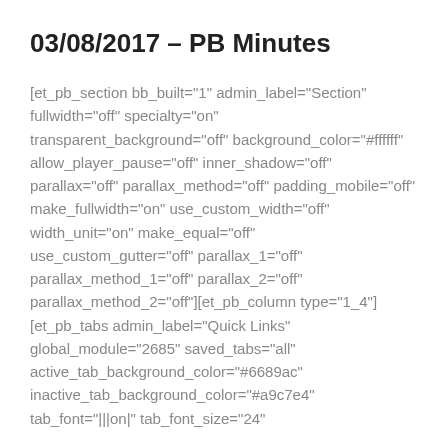03/08/2017 – PB Minutes
[et_pb_section bb_built="1" admin_label="Section" fullwidth="off" specialty="on" transparent_background="off" background_color="#ffffff" allow_player_pause="off" inner_shadow="off" parallax="off" parallax_method="off" padding_mobile="off" make_fullwidth="on" use_custom_width="off" width_unit="on" make_equal="off" use_custom_gutter="off" parallax_1="off" parallax_method_1="off" parallax_2="off" parallax_method_2="off"][et_pb_column type="1_4"][et_pb_tabs admin_label="Quick Links" global_module="2685" saved_tabs="all" active_tab_background_color="#6689ac" inactive_tab_background_color="#a9c7e4" tab_font="|||on|" tab_font_size="24"